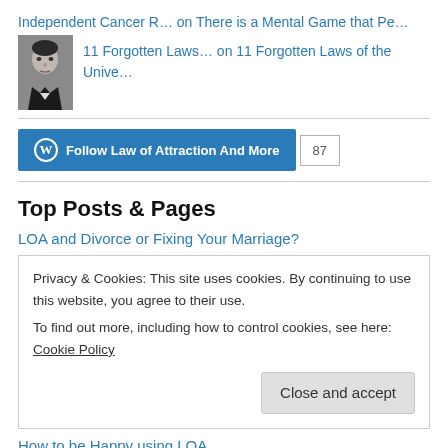Independent Cancer R… on There is a Mental Game that Pe…
11 Forgotten Laws… on 11 Forgotten Laws of the Unive…
[Figure (photo): Black and white portrait photo of a man in a suit]
Follow Law of Attraction And More  87
Top Posts & Pages
LOA and Divorce or Fixing Your Marriage?
Privacy & Cookies: This site uses cookies. By continuing to use this website, you agree to their use.
To find out more, including how to control cookies, see here: Cookie Policy
Close and accept
How to be Happy using LOA